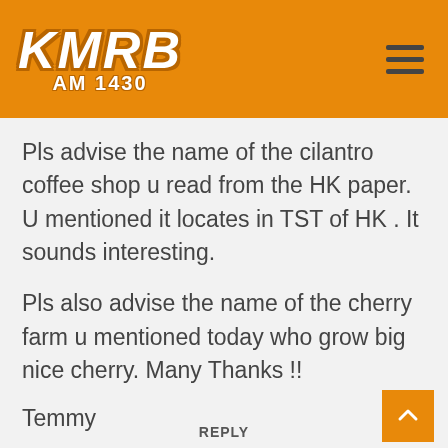[Figure (logo): KMRB AM 1430 radio station logo on orange background with hamburger menu icon]
Pls advise the name of the cilantro coffee shop u read from the HK paper. U mentioned it locates in TST of HK . It sounds interesting.
Pls also advise the name of the cherry farm u mentioned today who grow big nice cherry. Many Thanks !!
Temmy
REPLY